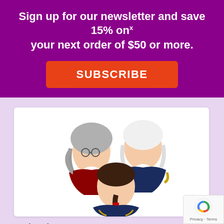Sign up for our newsletter and save 15% on your next order of $50 or more.
SUBSCRIBE
[Figure (photo): Product photo showing three men wearing patriot/colonial style wigs: one with gray wig and glasses in red coat, one with white wig in navy military coat, and one with dark ponytail wig in navy military coat.]
Patriot Wig
Add to Wishlist